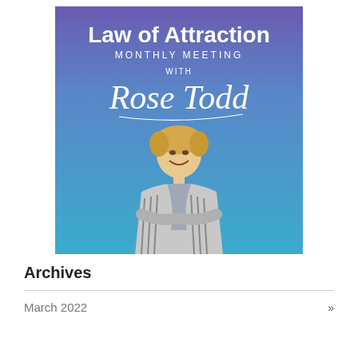[Figure (illustration): Promotional poster for Law of Attraction Monthly Meeting with Rose Todd. Purple-to-blue gradient background with bold white text 'Law of Attraction' at top, 'MONTHLY MEETING' below, 'WITH' smaller, then cursive 'Rose Todd' signature text. Lower half shows a smiling middle-aged woman with short blonde hair, wearing a striped jacket and scarf.]
Archives
March 2022